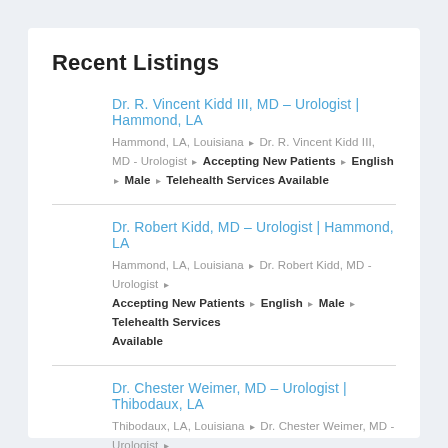Recent Listings
Dr. R. Vincent Kidd III, MD – Urologist | Hammond, LA
Hammond, LA, Louisiana ▸ Dr. R. Vincent Kidd III, MD - Urologist ▸ Accepting New Patients ▸ English ▸ Male ▸ Telehealth Services Available
Dr. Robert Kidd, MD – Urologist | Hammond, LA
Hammond, LA, Louisiana ▸ Dr. Robert Kidd, MD - Urologist ▸ Accepting New Patients ▸ English ▸ Male ▸ Telehealth Services Available
Dr. Chester Weimer, MD – Urologist | Thibodaux, LA
Thibodaux, LA, Louisiana ▸ Dr. Chester Weimer, MD - Urologist ▸ Accepting New Patients ▸ English ▸ Male ▸ Telehealth Services Available